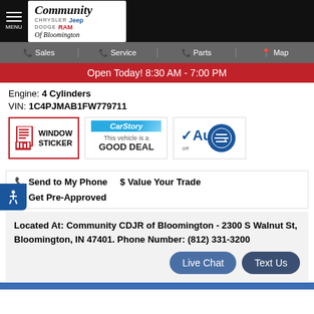Community Chrysler Jeep Dodge RAM of Bloomington
Sales | Service | Parts | Map
Open Today! 8:30 AM - 7:00 PM
Engine: 4 Cylinders
VIN: 1C4PJMAB1FW779711
[Figure (logo): Window Sticker badge with document icon]
[Figure (logo): CarStory badge: This vehicle is a GOOD DEAL]
[Figure (logo): AutoCheck badge with blue circle icon]
Send to My Phone   $ Value Your Trade
Get Pre-Approved
Located At: Community CDJR of Bloomington - 2300 S Walnut St, Bloomington, IN 47401. Phone Number: (812) 331-3200